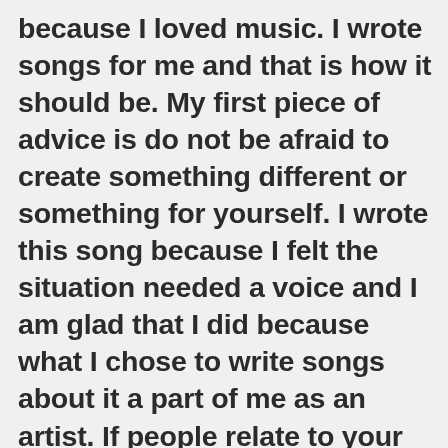because I loved music. I wrote songs for me and that is how it should be. My first piece of advice is do not be afraid to create something different or something for yourself. I wrote this song because I felt the situation needed a voice and I am glad that I did because what I chose to write songs about it a part of me as an artist. If people relate to your music it is a bonus so do not be afraid to create something new and different.